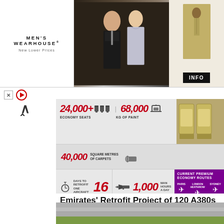[Figure (infographic): Men's Wearhouse advertisement with couple in formal wear and man in tan suit. INFO button visible.]
[Figure (infographic): Emirates A380 retrofit infographic showing: 24,000+ economy seats, 68,000 kg of paint, 40,000 square metres of carpets, 16 days to retrofit one aircraft, 1,000 man hours a day. Current premium economy routes: Paris, London Heathrow, Sydney. Ticker: STARTS NOVEMBER 2022 • EVERY CABIN UPGRADED TO NEW STYLE AND DESIGN • PREMIUM ECONOMY ADDED]
Emirates' Retrofit Project of 120 A380s and Complete
[Figure (photo): Aerial photo of an aircraft on a runway with green grass in the foreground]